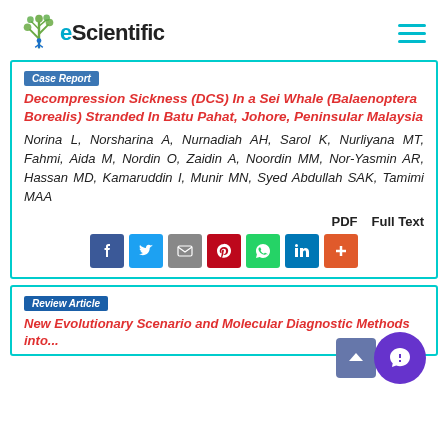eScientific
Decompression Sickness (DCS) In a Sei Whale (Balaenoptera Borealis) Stranded In Batu Pahat, Johore, Peninsular Malaysia
Norina L, Norsharina A, Nurnadiah AH, Sarol K, Nurliyana MT, Fahmi, Aida M, Nordin O, Zaidin A, Noordin MM, Nor-Yasmin AR, Hassan MD, Kamaruddin I, Munir MN, Syed Abdullah SAK, Tamimi MAA
Review Article
New Evolutionary Scenario and Molecular Diagnostic Methods into...